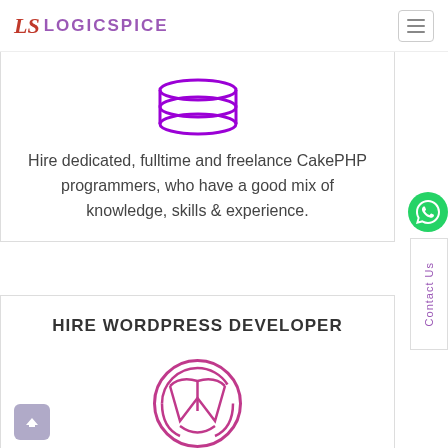LOGICSPICE
[Figure (logo): CakePHP stack/database icon in purple]
Hire dedicated, fulltime and freelance CakePHP programmers, who have a good mix of knowledge, skills & experience.
HIRE WORDPRESS DEVELOPER
[Figure (logo): WordPress logo circle icon in pink/magenta]